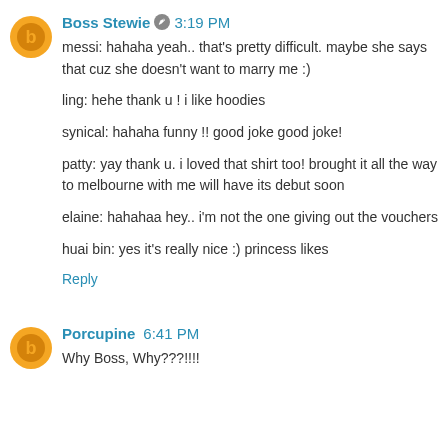Boss Stewie  3:19 PM
messi: hahaha yeah.. that's pretty difficult. maybe she says that cuz she doesn't want to marry me :)

ling: hehe thank u ! i like hoodies

synical: hahaha funny !! good joke good joke!

patty: yay thank u. i loved that shirt too! brought it all the way to melbourne with me will have its debut soon

elaine: hahahaa hey.. i'm not the one giving out the vouchers

huai bin: yes it's really nice :) princess likes
Reply
Porcupine  6:41 PM
Why Boss, Why???!!!!